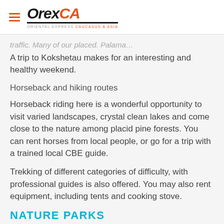OrexCA - Oriental Express Caucasus & Asia
…traffic. Many of our placed. Palama…
A trip to Kokshetau makes for an interesting and healthy weekend.
Horseback and hiking routes
Horseback riding here is a wonderful opportunity to visit varied landscapes, crystal clean lakes and come close to the nature among placid pine forests. You can rent horses from local people, or go for a trip with a trained local CBE guide.
Trekking of different categories of difficulty, with professional guides is also offered. You may also rent equipment, including tents and cooking stove.
NATURE PARKS
ALTYN-EMEL